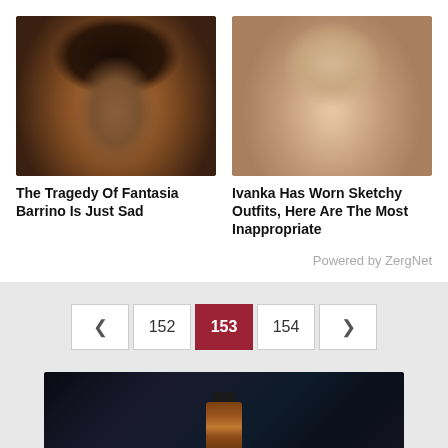[Figure (photo): Portrait photo of Fantasia Barrino, a Black woman with short dark hair, smoky eye makeup, wearing pink accessories]
The Tragedy Of Fantasia Barrino Is Just Sad
[Figure (photo): Portrait photo of Ivanka Trump, a blonde woman smiling, wearing light-colored clothing]
Ivanka Has Worn Sketchy Outfits, Here Are The Most Inappropriate
Powered by ZergNet
< 152 153 154 >
[Figure (photo): Dark background image with a small amber glass bottle visible at the bottom]